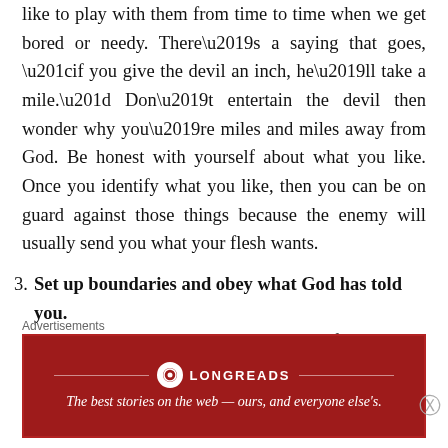like to play with them from time to time when we get bored or needy. There’s a saying that goes, “if you give the devil an inch, he’ll take a mile.” Don’t entertain the devil then wonder why you’re miles and miles away from God. Be honest with yourself about what you like. Once you identify what you like, then you can be on guard against those things because the enemy will usually send you what your flesh wants.
3. Set up boundaries and obey what God has told you. Did God tell you that you’re not ready for marriage but 3 months later you’re in a relationship? Or did God tell you that He wants you to focus on your relationship with
Advertisements
[Figure (other): Longreads advertisement banner with red background, logo circle, brand name LONGREADS, and tagline: The best stories on the web — ours, and everyone else's.]